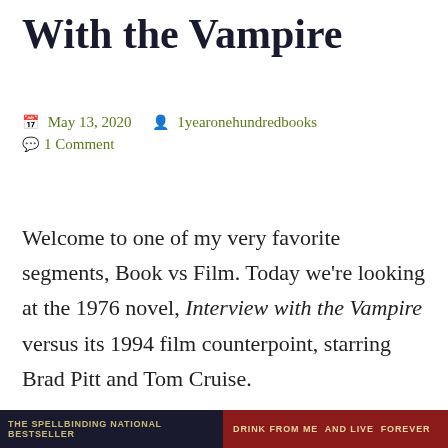With the Vampire
May 13, 2020  1yearonehundredbooks
1 Comment
Welcome to one of my very favorite segments, Book vs Film. Today we’re looking at the 1976 novel, Interview with the Vampire versus its 1994 film counterpoint, starring Brad Pitt and Tom Cruise.
[Figure (photo): Bottom banner showing two book covers side by side. Left side shows a dark background with text 'THE SPELLBINDING NATIONAL BESTSELLER'. Right side shows a reddish background with text 'DRINK FROM ME AND LIVE FOREVER'.]